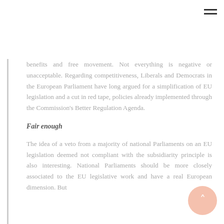[Figure (other): Hamburger menu icon in top right corner]
benefits and free movement. Not everything is negative or unacceptable. Regarding competitiveness, Liberals and Democrats in the European Parliament have long argued for a simplification of EU legislation and a cut in red tape, policies already implemented through the Commission's Better Regulation Agenda.
Fair enough
The idea of a veto from a majority of national Parliaments on an EU legislation deemed not compliant with the subsidiarity principle is also interesting. National Parliaments should be more closely associated to the EU legislative work and have a real European dimension. But